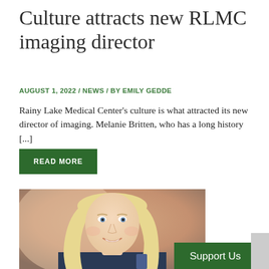Culture attracts new RLMC imaging director
AUGUST 1, 2022 / NEWS / BY EMILY GEDDE
Rainy Lake Medical Center's culture is what attracted its new director of imaging. Melanie Britten, who has a long history [...]
READ MORE
[Figure (photo): Professional headshot of a blonde woman wearing a dark navy top, smiling, with a blurred warm-toned background.]
Support Us